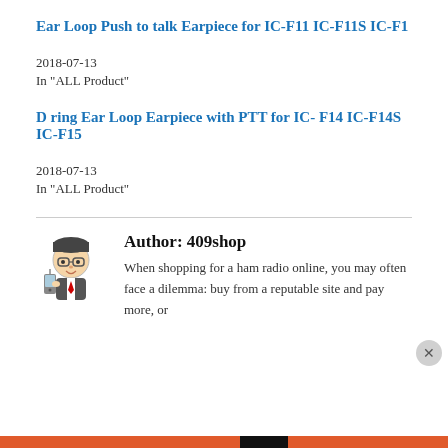Ear Loop Push to talk Earpiece for IC-F11 IC-F11S IC-F1
2018-07-13
In "ALL Product"
D ring Ear Loop Earpiece with PTT for IC-F14 IC-F14S IC-F15
2018-07-13
In "ALL Product"
[Figure (illustration): Cartoon avatar of a man in a suit holding a walkie-talkie radio]
Author: 409shop
When shopping for a ham radio online, you may often face a dilemma: buy from a reputable site and pay more, or
Privacy & Cookies: This site uses cookies. By continuing to use this website, you agree to their use.
To find out more, including how to control cookies, see here: Cookie Policy
Close and accept